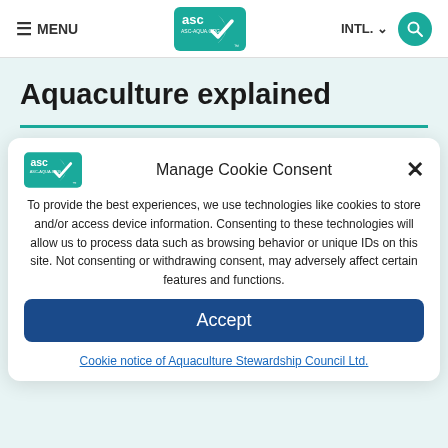≡ MENU | ASC Logo | INTL. ∨ | 🔍
Aquaculture explained
Manage Cookie Consent
To provide the best experiences, we use technologies like cookies to store and/or access device information. Consenting to these technologies will allow us to process data such as browsing behavior or unique IDs on this site. Not consenting or withdrawing consent, may adversely affect certain features and functions.
Accept
Cookie notice of Aquaculture Stewardship Council Ltd.